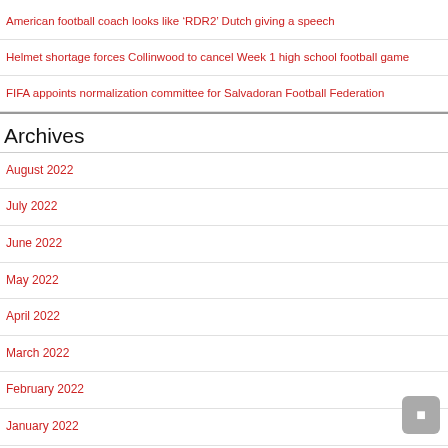American football coach looks like ‘RDR2’ Dutch giving a speech
Helmet shortage forces Collinwood to cancel Week 1 high school football game
FIFA appoints normalization committee for Salvadoran Football Federation
Archives
August 2022
July 2022
June 2022
May 2022
April 2022
March 2022
February 2022
January 2022